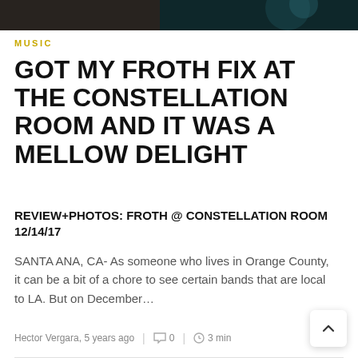[Figure (photo): Dark hero image showing a person or performer, partially visible, with teal/blue lighting on the right side.]
MUSIC
GOT MY FROTH FIX AT THE CONSTELLATION ROOM AND IT WAS A MELLOW DELIGHT
REVIEW+PHOTOS: FROTH @ CONSTELLATION ROOM 12/14/17
SANTA ANA, CA- As someone who lives in Orange County, it can be a bit of a chore to see certain bands that are local to LA. But on December…
Hector Vergara, 5 years ago  |  0  |  3 min